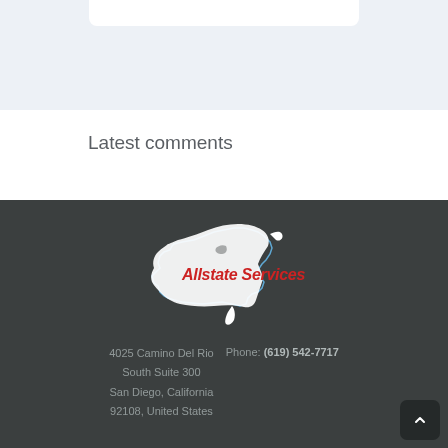Latest comments
[Figure (logo): Allstate Services logo — outline map of the United States in white/blue with 'Allstate Services' in red italic text overlaid on the map]
4025 Camino Del Rio South Suite 300 San Diego, California 92108, United States  Phone: (619) 542-7717